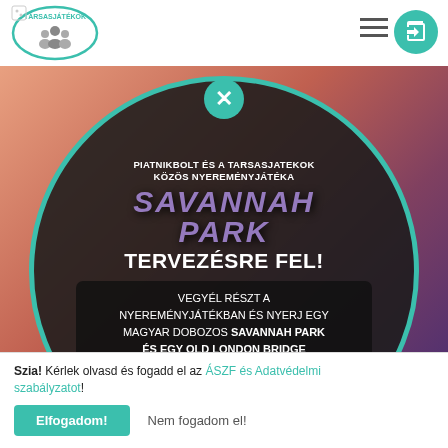Társasjátékok navigation bar
[Figure (screenshot): Popup modal overlay on a board game website showing a Savannah Park game giveaway promotion. Dark circle with teal border over colorful background.]
PIATNIKBOLT ÉS A TARSASJATEKOK KÖZÖS NYEREMÉNYJÁTÉKA
TERVEZÉSRE FEL!
VEGYÉL RÉSZT A NYEREMÉNYJÁTÉKBAN ÉS NYERJ EGY MAGYAR DOBOZOS SAVANNAH PARK ÉS EGY OLD LONDON BRIDGE TÁRSASJÁTÉKOT A PIATNIK BUDAPEST JÓVOLTÁBÓL!
Szia! Kérlek olvasd és fogadd el az ÁSZF és Adatvédelmi szabályzatot!
Elfogadom! Nem fogadom el!